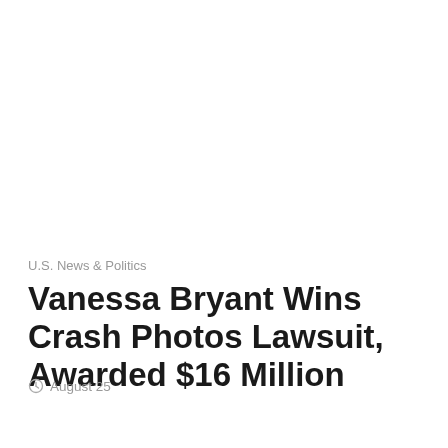U.S. News & Politics
Vanessa Bryant Wins Crash Photos Lawsuit, Awarded $16 Million
August 25